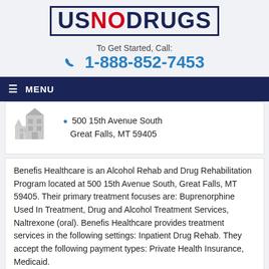[Figure (logo): USNODRUGS logo with dark navy border, 'US' in navy, 'NO' in red, 'DRUGS' in navy, bold block letters]
To Get Started, Call:
1-888-852-7453
≡ MENU
[Figure (illustration): Gray house/building icon]
500 15th Avenue South
Great Falls, MT 59405
Benefis Healthcare is an Alcohol Rehab and Drug Rehabilitation Program located at 500 15th Avenue South, Great Falls, MT 59405. Their primary treatment focuses are: Buprenorphine Used In Treatment, Drug and Alcohol Treatment Services, Naltrexone (oral). Benefis Healthcare provides treatment services in the following settings: Inpatient Drug Rehab. They accept the following payment types: Private Health Insurance, Medicaid.